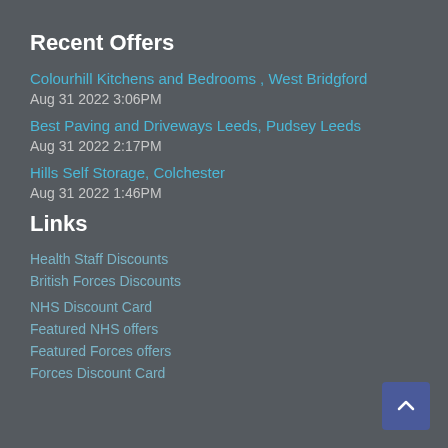Recent Offers
Colourhill Kitchens and Bedrooms , West Bridgford
Aug 31 2022 3:06PM
Best Paving and Driveways Leeds, Pudsey Leeds
Aug 31 2022 2:17PM
Hills Self Storage, Colchester
Aug 31 2022 1:46PM
Links
Health Staff Discounts
British Forces Discounts
NHS Discount Card
Featured NHS offers
Featured Forces offers
Forces Discount Card